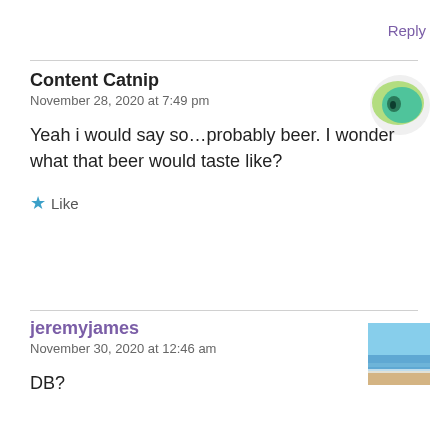Reply
Content Catnip
November 28, 2020 at 7:49 pm
Yeah i would say so...probably beer. I wonder what that beer would taste like?
★ Like
jeremyjames
November 30, 2020 at 12:46 am
DB?